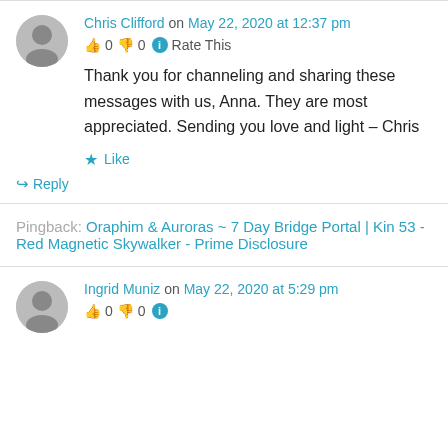Chris Clifford on May 22, 2020 at 12:37 pm
👍 0 👎 0 ℹ Rate This
Thank you for channeling and sharing these messages with us, Anna. They are most appreciated. Sending you love and light – Chris
★ Like
↪ Reply
Pingback: Oraphim & Auroras ~ 7 Day Bridge Portal | Kin 53 - Red Magnetic Skywalker - Prime Disclosure
Ingrid Muniz on May 22, 2020 at 5:29 pm